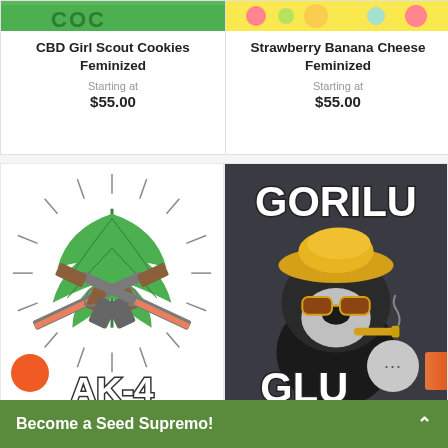[Figure (screenshot): Product image top strip for CBD Girl Scout Cookies Feminized - green banner]
CBD Girl Scout Cookies Feminized
Starting at
$55.00
[Figure (screenshot): Product image top strip for Strawberry Banana Cheese Feminized - colorful candy banner]
Strawberry Banana Cheese Feminized
Starting at
$55.00
[Figure (illustration): AK-47 cannabis strain illustration: crossed assault rifles over large cannabis leaf, rays emanating from center, text AK-4 at bottom in white bold lettering]
[Figure (illustration): Gorilla Glue cannabis strain illustration: cartoon gorilla wearing yellow hat and sunglasses, smoking cigar, text GORILU and GLU visible, dark background]
Become a Seed Supremo!